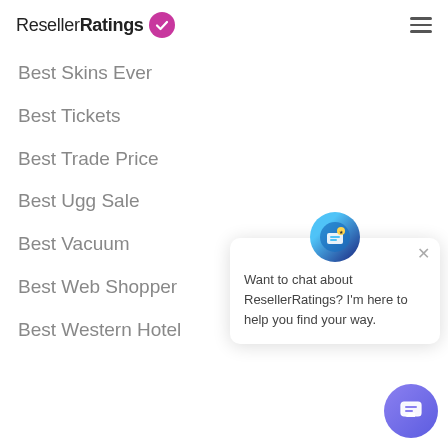ResellerRatings
Best Skins Ever
Best Tickets
Best Trade Price
Best Ugg Sale
Best Vacuum
Best Web Shopper
Best Western Hotel
[Figure (screenshot): Chat popup with avatar icon and message: 'Want to chat about ResellerRatings? I'm here to help you find your way.']